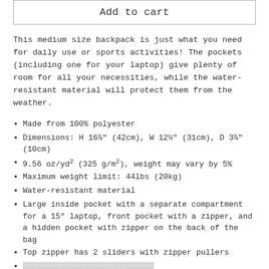Add to cart
This medium size backpack is just what you need for daily use or sports activities! The pockets (including one for your laptop) give plenty of room for all your necessities, while the water-resistant material will protect them from the weather.
Made from 100% polyester
Dimensions: H 16⅞" (42cm), W 12¼" (31cm), D 3⅞" (10cm)
9.56 oz/yd² (325 g/m²), weight may vary by 5%
Maximum weight limit: 44lbs (20kg)
Water-resistant material
Large inside pocket with a separate compartment for a 15" laptop, front pocket with a zipper, and a hidden pocket with zipper on the back of the bag
Top zipper has 2 sliders with zipper pullers